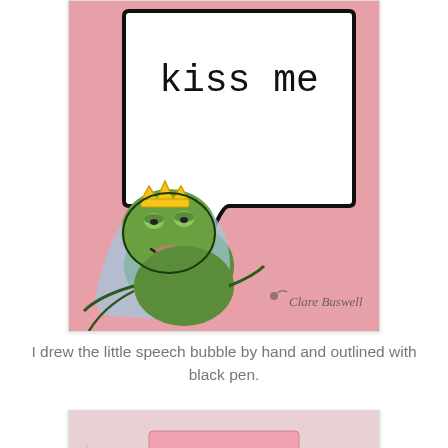[Figure (illustration): A handmade greeting card with a pink background. A large white speech bubble outlined in black contains the text 'kiss me' in a typewriter-style font. In the lower-left corner is a cartoon frog wearing a yellow crown, styled as a prince frog, on a blue decorative background. The watermark 'Clare Buswell' appears in the lower-right corner.]
I drew the little speech bubble by hand and outlined with black pen.
[Figure (photo): Partial view of pink ribbon or crafting material on a light background, partially visible at the bottom of the page.]